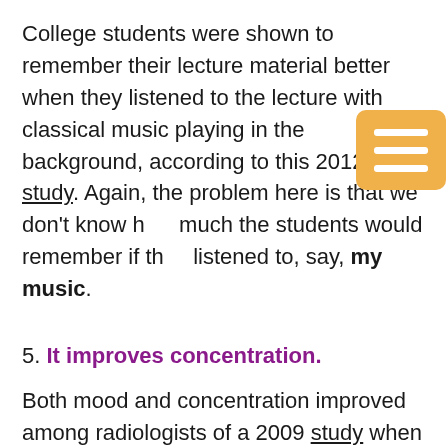College students were shown to remember their lecture material better when they listened to the lecture with classical music playing in the background, according to this 2012 study. Again, the problem here is that we don't know how much the students would remember if they listened to, say, my music.
5. It improves concentration.
Both mood and concentration improved among radiologists of a 2009 study when they listened to Baroque music in their reading rooms.